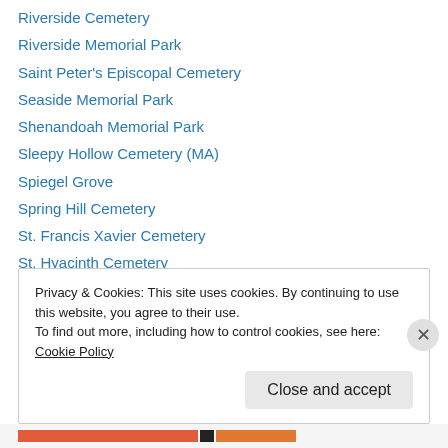Riverside Cemetery
Riverside Memorial Park
Saint Peter's Episcopal Cemetery
Seaside Memorial Park
Shenandoah Memorial Park
Sleepy Hollow Cemetery (MA)
Spiegel Grove
Spring Hill Cemetery
St. Francis Xavier Cemetery
St. Hyacinth Cemetery
St. Martin's Churchyard
St. Patrick's Cathedral (Ireland)
St. Peters Cemetery (MO)
Privacy & Cookies: This site uses cookies. By continuing to use this website, you agree to their use. To find out more, including how to control cookies, see here: Cookie Policy
Close and accept